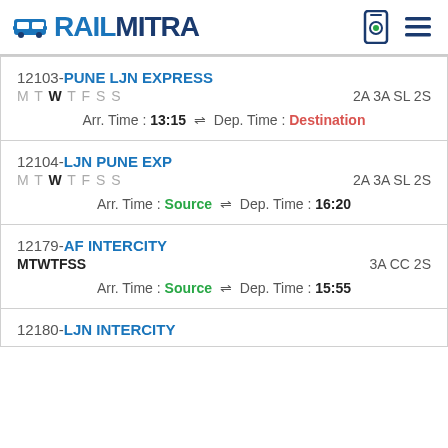RAILMITRA
12103-PUNE LJN EXPRESS MTWTFSS 2A 3A SL 2S Arr. Time : 13:15 ⇌ Dep. Time : Destination
12104-LJN PUNE EXP MTWTFSS 2A 3A SL 2S Arr. Time : Source ⇌ Dep. Time : 16:20
12179-AF INTERCITY MTWTFSS 3A CC 2S Arr. Time : Source ⇌ Dep. Time : 15:55
12180-LJN INTERCITY